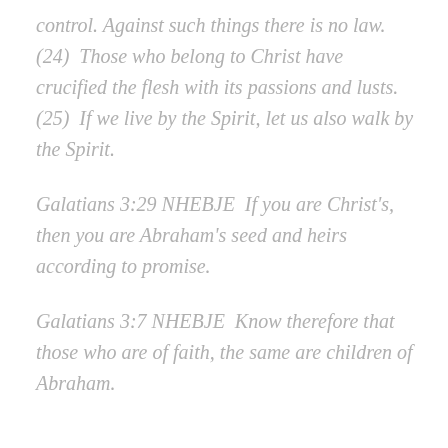control. Against such things there is no law. (24) Those who belong to Christ have crucified the flesh with its passions and lusts. (25) If we live by the Spirit, let us also walk by the Spirit.
Galatians 3:29 NHEBJE If you are Christ's, then you are Abraham's seed and heirs according to promise.
Galatians 3:7 NHEBJE Know therefore that those who are of faith, the same are children of Abraham.